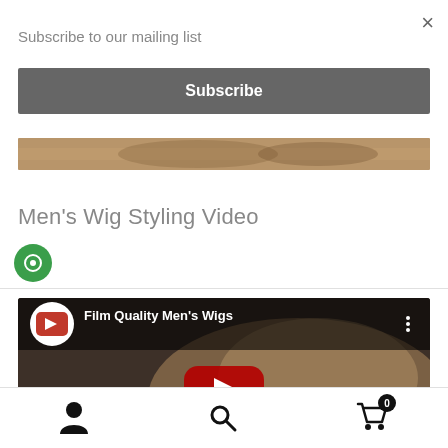×
Subscribe to our mailing list
Subscribe
[Figure (photo): Partial image strip showing a person's face/hair, partially visible]
Men's Wig Styling Video
[Figure (screenshot): YouTube video thumbnail for 'Film Quality Men's Wigs' showing a person having their hair/wig styled with a YouTube play button overlay]
Account icon, Search icon, Cart icon with badge showing 0